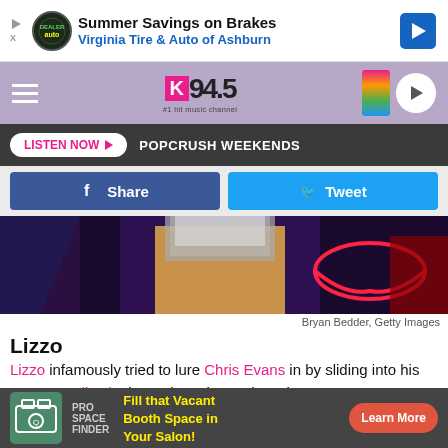[Figure (screenshot): Advertisement banner: Summer Savings on Brakes, Virginia Tire & Auto of Ashburn]
[Figure (logo): K94.5 #1 Hit Music Channel radio station logo and navigation bar]
LISTEN NOW  POPCRUSH WEEKENDS
f Share   Tweet
[Figure (photo): Photo of Lizzo performing, showing lower body in sparkly shorts with neon lips sign in background]
Bryan Bedder, Getty Images
Lizzo
Lizzo infamously tried to lure Chris Evans in by sliding into his DMs. On TikTok, the “Juice” singer shared a message to
[Figure (screenshot): Bottom advertisement: Pro Space Finder - Fill that Vacant Booth Space in Your Salon! Learn More]